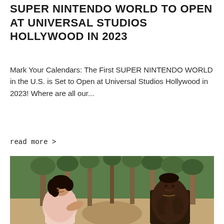SUPER NINTENDO WORLD TO OPEN AT UNIVERSAL STUDIOS HOLLYWOOD IN 2023
Mark Your Calendars: The First SUPER NINTENDO WORLD in the U.S. is Set to Open at Universal Studios Hollywood in 2023! Where are all our...
read more >
[Figure (photo): Two people on a beach with palm trees in background. A woman with curly hair wearing a light pink dress on the left, and a shirtless muscular man on the right, both smiling and facing each other.]